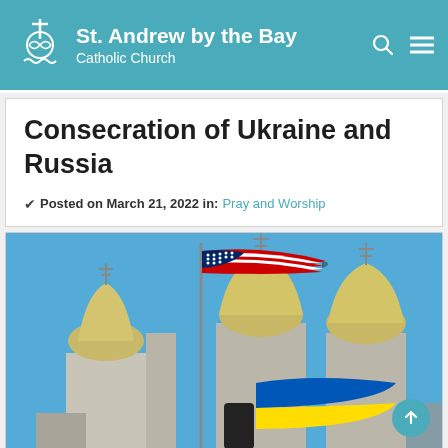St. Andrew by the Bay Catholic Church
Consecration of Ukraine and Russia
✔ Posted on March 21, 2022 in: Pray and Worship
[Figure (photo): Photograph showing an American flag and a Ukrainian flag (blue and yellow) flying in front of a Ukrainian Orthodox church with golden domes against a clear blue sky.]